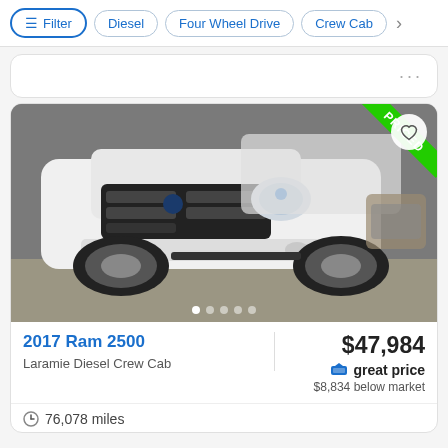Filter | Diesel | Four Wheel Drive | Crew Cab
[Figure (photo): Front view of a white 2017 Ram 2500 pickup truck with lifted suspension in a dealership showroom. A green ribbon badge in the top-right corner shows 'PRICED'. A white heart icon button is visible in the top-right of the image. Five pagination dots appear at the bottom.]
2017 Ram 2500
Laramie Diesel Crew Cab
$47,984
great price
$8,834 below market
76,078 miles